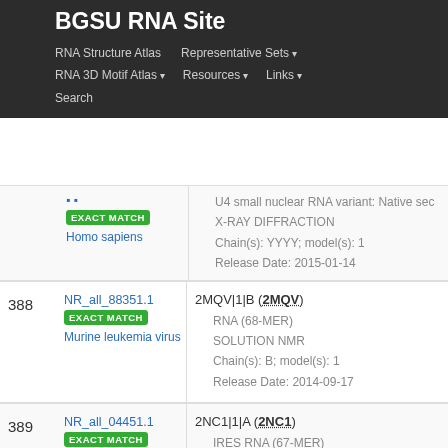BGSU RNA Site
RNA Structure Atlas | Representative Sets ▾ | RNA 3D Motif Atlas ▾ | Resources ▾ | Links ▾ | Search
| # | Representative | Members |
| --- | --- | --- |
|  | NR_all_88351.1 [EXACT MATCH] Murine leukemia virus | 2MQV|1|B (2MQV) • RNA (68-MER) • SOLUTION NMR • Chain(s): B; model(s): 1 • Release Date: 2014-09-17 |
| 388 | NR_all_88351.1 [EXACT MATCH] Murine leukemia virus | 2MQV|1|B (2MQV) • RNA (68-MER) • SOLUTION NMR • Chain(s): B; model(s): 1 • Release Date: 2014-09-17 |
| 389 | NR_all_04451.1 [EXACT MATCH] synthetic construct | 2NC1|1|A (2NC1) • IRES RNA (67-MER) • SOLUTION NMR • Chain(s): A; model(s): 1 |